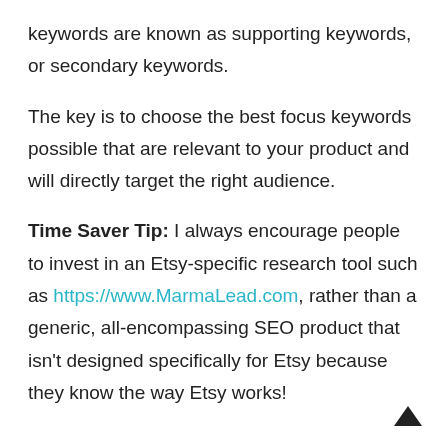keywords are known as supporting keywords, or secondary keywords.
The key is to choose the best focus keywords possible that are relevant to your product and will directly target the right audience.
Time Saver Tip: I always encourage people to invest in an Etsy-specific research tool such as https://www.MarmaLead.com, rather than a generic, all-encompassing SEO product that isn't designed specifically for Etsy because they know the way Etsy works!